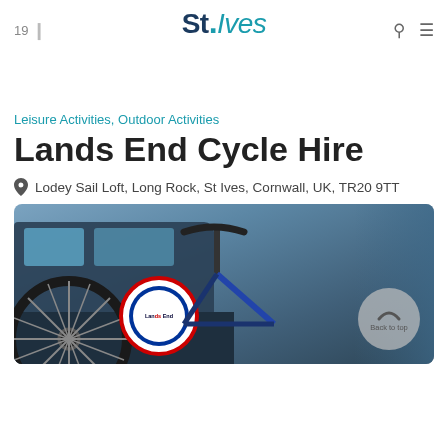19 | St.Ives [search icon] [menu icon]
Leisure Activities, Outdoor Activities
Lands End Cycle Hire
Lodey Sail Loft, Long Rock, St Ives, Cornwall, UK, TR20 9TT
[Figure (photo): Photo of bicycles at Lands End Cycle Hire location, showing bicycle handlebars, wheels, and a Lands End circular logo sign. A 'Back to top' button overlays the image.]